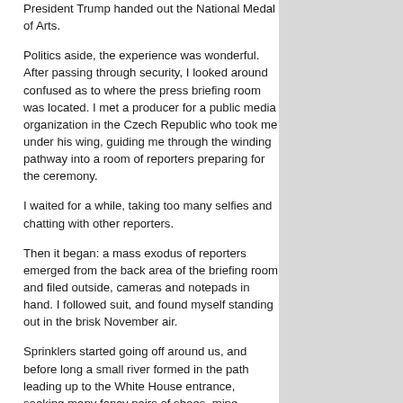President Trump handed out the National Medal of Arts.
Politics aside, the experience was wonderful. After passing through security, I looked around confused as to where the press briefing room was located. I met a producer for a public media organization in the Czech Republic who took me under his wing, guiding me through the winding pathway into a room of reporters preparing for the ceremony.
I waited for a while, taking too many selfies and chatting with other reporters.
Then it began: a mass exodus of reporters emerged from the back area of the briefing room and filed outside, cameras and notepads in hand. I followed suit, and found myself standing out in the brisk November air.
Sprinklers started going off around us, and before long a small river formed in the path leading up to the White House entrance, soaking many fancy pairs of shoes, mine included. But even then, I never got cold feet.